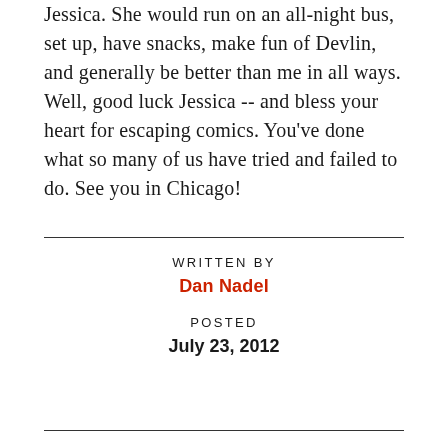Jessica. She would run on an all-night bus, set up, have snacks, make fun of Devlin, and generally be better than me in all ways. Well, good luck Jessica -- and bless your heart for escaping comics. You've done what so many of us have tried and failed to do. See you in Chicago!
WRITTEN BY
Dan Nadel
POSTED
July 23, 2012